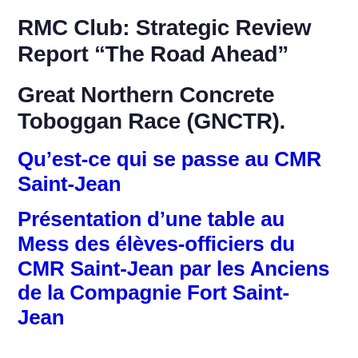RMC Club: Strategic Review Report “The Road Ahead”
Great Northern Concrete Toboggan Race (GNCTR).
Qu’est-ce qui se passe au CMR Saint-Jean
Présentation d’une table au Mess des élèves-officiers du CMR Saint-Jean par les Anciens de la Compagnie Fort Saint-Jean